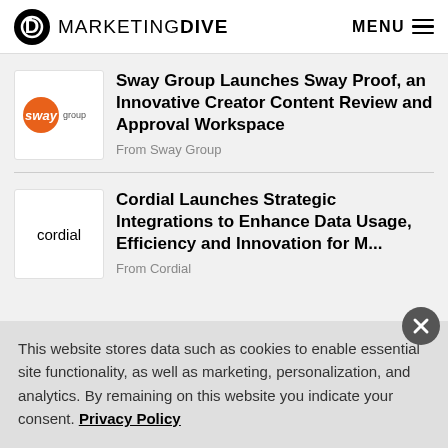MARKETING DIVE — MENU
Sway Group Launches Sway Proof, an Innovative Creator Content Review and Approval Workspace
From Sway Group
Cordial Launches Strategic Integrations to Enhance Data Usage, Efficiency and Innovation for M...
From Cordial
This website stores data such as cookies to enable essential site functionality, as well as marketing, personalization, and analytics. By remaining on this website you indicate your consent. Privacy Policy